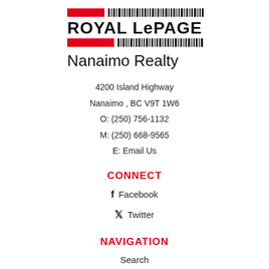[Figure (logo): Royal LePage Nanaimo Realty logo with red bars and barcode graphic]
4200 Island Highway
Nanaimo , BC V9T 1W6
O: (250) 756-1132
M: (250) 668-9565
E: Email Us
CONNECT
Facebook
Twitter
NAVIGATION
Search
About
Buyers